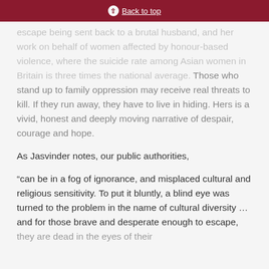Back to top
escape being sent back to a brutal husband, and her work on behalf of women affected by honour-based violence, where the suicide rate among Asian women in Britain is three times the national average. Those who stand up to family oppression may receive real threats to kill. If they run away, they have to live in hiding. Hers is a vivid, honest and deeply moving narrative of despair, courage and hope.
As Jasvinder notes, our public authorities,
“can be in a fog of ignorance, and misplaced cultural and religious sensitivity. To put it bluntly, a blind eye was turned to the problem in the name of cultural diversity ... and for those brave and desperate enough to escape, they are dead in the eyes of their